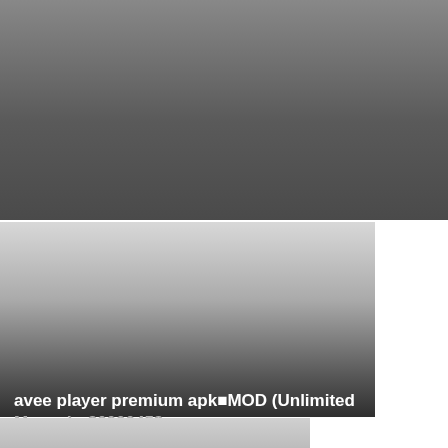[Figure (photo): Dark grey gradient hero image background for article header]
avee player premium apk■MOD (Unlimited Money) v2.1.6
admin - 2022-07-03
[Figure (photo): Light to dark grey gradient card image on the left side]
avee player premium apk■MOD (Unlimited Money) v30000458
[Figure (photo): Light grey gradient card image at the bottom]